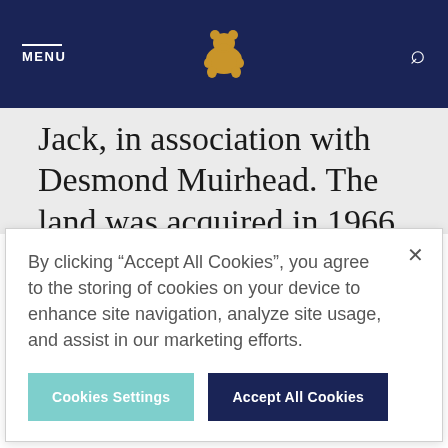MENU [bear logo] [search icon]
Jack, in association with Desmond Muirhead. The land was acquired in 1966, but construction did not
By clicking "Accept All Cookies", you agree to the storing of cookies on your device to enhance site navigation, analyze site usage, and assist in our marketing efforts.
Cookies Settings   Accept All Cookies